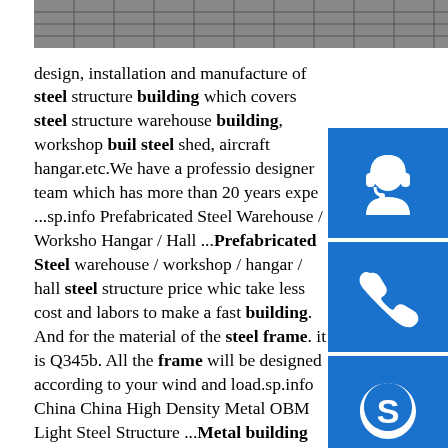[Figure (photo): Partial photo of steel structure building at top left of page]
design, installation and manufacture of steel structure building which covers steel structure warehouse building, workshop building, steel shed, aircraft hangar.etc.We have a professional designer team which has more than 20 years expe...sp.info Prefabricated Steel Warehouse / Workshop / Hangar / Hall ...Prefabricated Steel warehouse / workshop / hangar / hall steel structure price which take less cost and labors to make a fast building. And for the material of the steel frame. it is Q345b. All the frame will be designed according to your wind and load.sp.info China China High Density Metal OBM Light Steel Structure ...Metal building systems are interdependent assemblages of structural elements that work together to create a very efficient structural system. The basic elements of the metal building system are primary frames (structural steel members), secondary purlin and girt members (cold-formed steel and steel joists), and metal roof and wall cladding systems.sp.info
[Figure (infographic): Blue sidebar with three icons: headset/customer service icon, phone icon, and Skype icon]